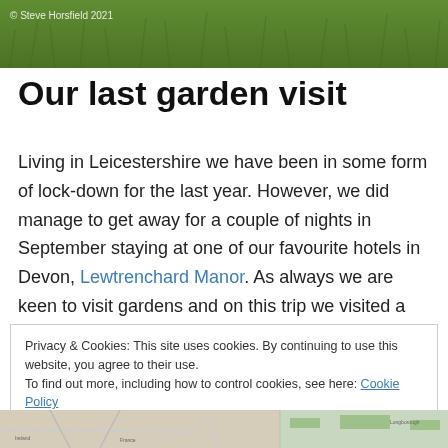[Figure (photo): Green grass/garden photo header with copyright credit '© Steve Horsfield 2021']
Our last garden visit
Living in Leicestershire we have been in some form of lock-down for the last year. However, we did manage to get away for a couple of nights in September staying at one of our favourite hotels in Devon, Lewtrenchard Manor. As always we are keen to visit gardens and on this trip we visited a new garden called The Newt in Somerset. Some other friends had also visited The Newt and told us we
Privacy & Cookies: This site uses cookies. By continuing to use this website, you agree to their use.
To find out more, including how to control cookies, see here: Cookie Policy
[Close and accept]
[Figure (map): Map strip at the bottom of the page showing a geographic map]